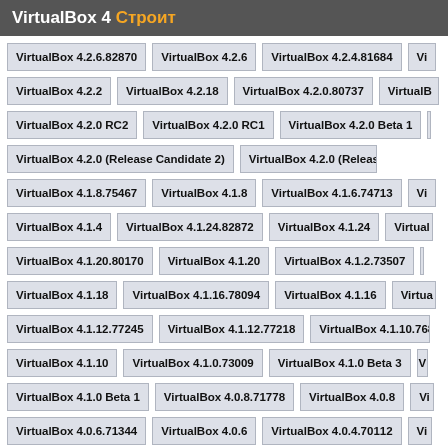VirtualBox 4 Строит
VirtualBox 4.2.6.82870
VirtualBox 4.2.6
VirtualBox 4.2.4.81684
Vi...
VirtualBox 4.2.2
VirtualBox 4.2.18
VirtualBox 4.2.0.80737
VirtualB...
VirtualBox 4.2.0 RC2
VirtualBox 4.2.0 RC1
VirtualBox 4.2.0 Beta 1
VirtualBox 4.2.0 (Release Candidate 2)
VirtualBox 4.2.0 (Release Candida...
VirtualBox 4.1.8.75467
VirtualBox 4.1.8
VirtualBox 4.1.6.74713
Vi...
VirtualBox 4.1.4
VirtualBox 4.1.24.82872
VirtualBox 4.1.24
Virtual...
VirtualBox 4.1.20.80170
VirtualBox 4.1.20
VirtualBox 4.1.2.73507
...
VirtualBox 4.1.18
VirtualBox 4.1.16.78094
VirtualBox 4.1.16
Virtua...
VirtualBox 4.1.12.77245
VirtualBox 4.1.12.77218
VirtualBox 4.1.10.768...
VirtualBox 4.1.10
VirtualBox 4.1.0.73009
VirtualBox 4.1.0 Beta 3
V...
VirtualBox 4.1.0 Beta 1
VirtualBox 4.0.8.71778
VirtualBox 4.0.8
Vi...
VirtualBox 4.0.6.71344
VirtualBox 4.0.6
VirtualBox 4.0.4.70112
Vi...
VirtualBox 4.0.2
VirtualBox 4.0.18
VirtualBox 4.0.16.75491
Virtual...